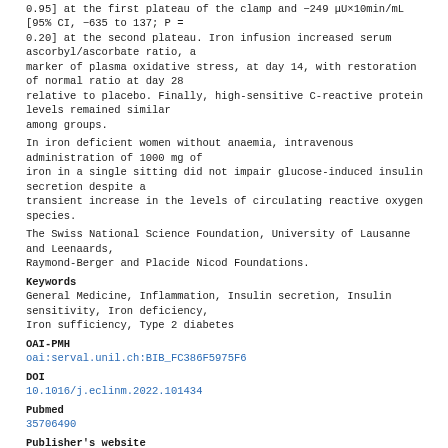0.95] at the first plateau of the clamp and −249 μU×10min/mL [95% CI, −635 to 137; P = 0.20] at the second plateau. Iron infusion increased serum ascorbyl/ascorbate ratio, a marker of plasma oxidative stress, at day 14, with restoration of normal ratio at day 28 relative to placebo. Finally, high-sensitive C-reactive protein levels remained similar among groups.
In iron deficient women without anaemia, intravenous administration of 1000 mg of iron in a single sitting did not impair glucose-induced insulin secretion despite a transient increase in the levels of circulating reactive oxygen species.
The Swiss National Science Foundation, University of Lausanne and Leenaards, Raymond-Berger and Placide Nicod Foundations.
Keywords
General Medicine, Inflammation, Insulin secretion, Insulin sensitivity, Iron deficiency, Iron sufficiency, Type 2 diabetes
OAI-PMH
oai:serval.unil.ch:BIB_FC386F5975F6
DOI
10.1016/j.eclinm.2022.101434
Pubmed
35706490
Publisher's website
http://dx.doi.org/10.1016/j.eclinm.2022.101434
Open Access
Yes
Funding(s)
Swiss National Science Foundation